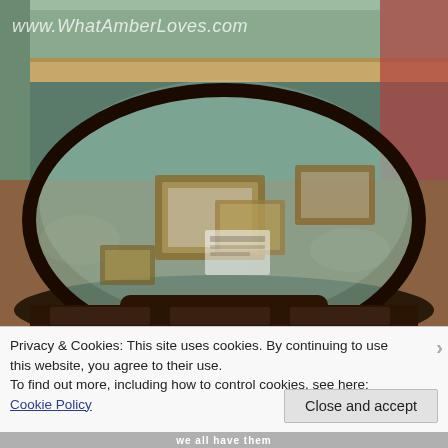[Figure (photo): Photograph of an oval glass-top coffee table with decorative picture frames reflected in the glass surface, placed on a patterned rug in a home interior. Website watermark 'www.WhatAmberLoves.com' overlaid in white italic text at top left.]
Privacy & Cookies: This site uses cookies. By continuing to use this website, you agree to their use.
To find out more, including how to control cookies, see here: Cookie Policy
Close and accept